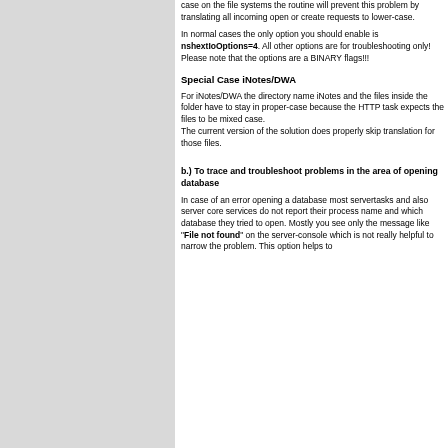case on the file systems the routine will prevent this problem by translating all incoming open or create requests to lower-case.
In normal cases the only option you should enable is nshextIoOptions=4. All other options are for troubleshooting only! Please note that the options are a BINARY flags!!!
Special Case iNotes/DWA
For iNotes/DWA the directory name iNotes and the files inside the folder have to stay in proper-case because the HTTP task expects the files to be mixed case.
The current version of the solution does properly skip translation for those files.
b.) To trace and troubleshoot problems in the area of opening database
In case of an error opening a database most servertasks and also server core services do not report their process name and which database they tried to open. Mostly you see only the message like "File not found" on the server-console which is not really helpful to narrow the problem. This option helps to